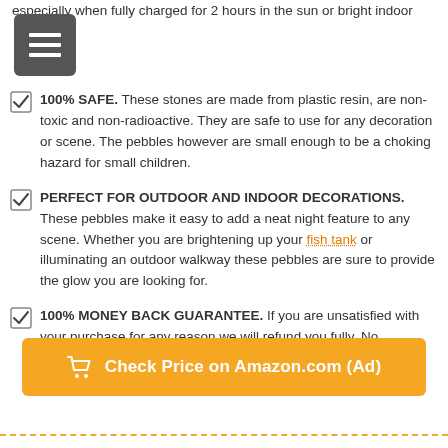especially when fully charged for 2 hours in the sun or bright indoor light.
100% SAFE. These stones are made from plastic resin, are non-toxic and non-radioactive. They are safe to use for any decoration or scene. The pebbles however are small enough to be a choking hazard for small children.
PERFECT FOR OUTDOOR AND INDOOR DECORATIONS. These pebbles make it easy to add a neat night feature to any scene. Whether you are brightening up your fish tank or illuminating an outdoor walkway these pebbles are sure to provide the glow you are looking for.
100% MONEY BACK GUARANTEE. If you are unsatisfied with your purchase for any reason we will refund you fully. No questions asked, however we doubt you will be dissatisfied
Check Price on Amazon.com (Ad)